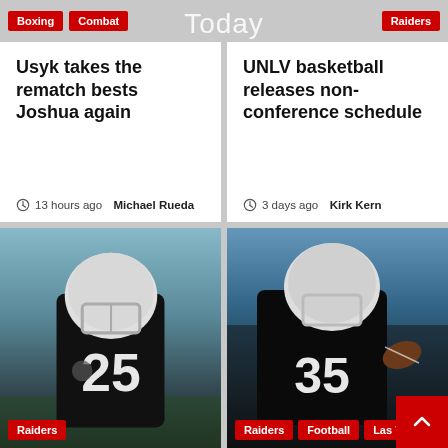Boxing | Combat | Today | Raiders
Usyk takes the rematch bests Joshua again
13 hours ago  Michael Rueda
UNLV basketball releases non-conference schedule
3 days ago  Kirk Kern
[Figure (photo): Raiders player wearing jersey number 25 in black uniform with helmet at training camp]
PHOTOS: 2022 Training
[Figure (photo): Raiders player wearing jersey number 35 in black uniform with helmet catching football]
Titans acquire Tyree